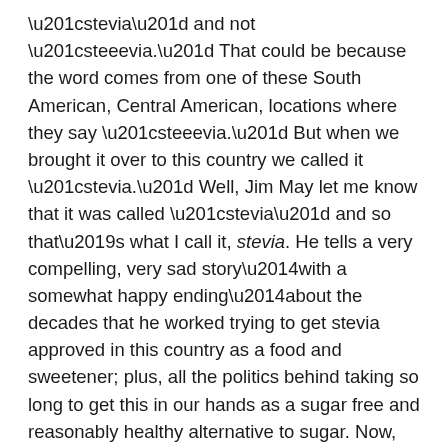“stevia” and not “steeevia.” That could be because the word comes from one of these South American, Central American, locations where they say “steeevia.” But when we brought it over to this country we called it “stevia.” Well, Jim May let me know that it was called “stevia” and so that’s what I call it, stevia. He tells a very compelling, very sad story—with a somewhat happy ending—about the decades that he worked trying to get stevia approved in this country as a food and sweetener; plus, all the politics behind taking so long to get this in our hands as a sugar free and reasonably healthy alternative to sugar. Now, you can get it. There are also some major corporations that have gotten into the scene of using stevia as a sweetener. I prefer using Sweet Leaf Stevia because Jim told me on the show about how they manufacture it. They basically do some very simple processing to get their stevia and they get it from sources in Uruguay. I think that they have a lot of confidence in how they’re grown, whereas the corporations that sell products with stevia in it are not completely stevia and they contain a lot of manufactured synthetic ingredients; not the same product. So, I enjoy using